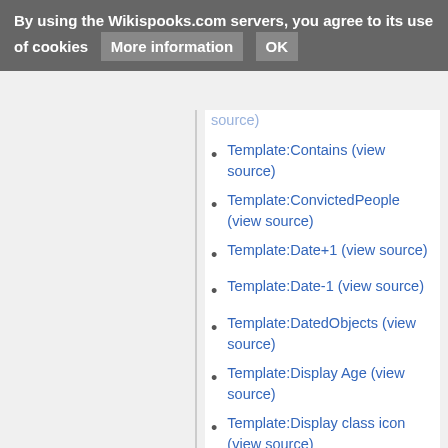By using the Wikispooks.com servers, you agree to its use of cookies  More information  OK
Template:Contains (view source)
Template:ConvictedPeople (view source)
Template:Date+1 (view source)
Template:Date-1 (view source)
Template:DatedObjects (view source)
Template:Display Age (view source)
Template:Display class icon (view source)
Template:Display docType (view source)
Template:Display image (view source)